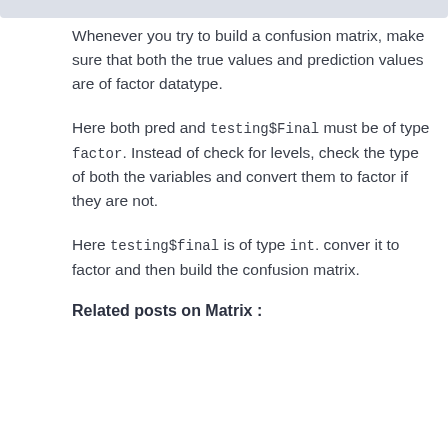Whenever you try to build a confusion matrix, make sure that both the true values and prediction values are of factor datatype.
Here both pred and testing$Final must be of type factor. Instead of check for levels, check the type of both the variables and convert them to factor if they are not.
Here testing$final is of type int. conver it to factor and then build the confusion matrix.
Related posts on Matrix  :